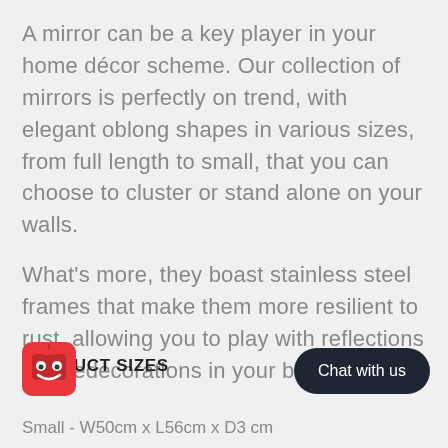A mirror can be a key player in your home décor scheme. Our collection of mirrors is perfectly on trend, with elegant oblong shapes in various sizes, from full length to small, that you can choose to cluster or stand alone on your walls.
What's more, they boast stainless steel frames that make them more resilient to rust, allowing you to play with reflections and redecorations in your bathroom too.
PRODUCT SIZES
Small - W50cm x L56cm x D3 cm